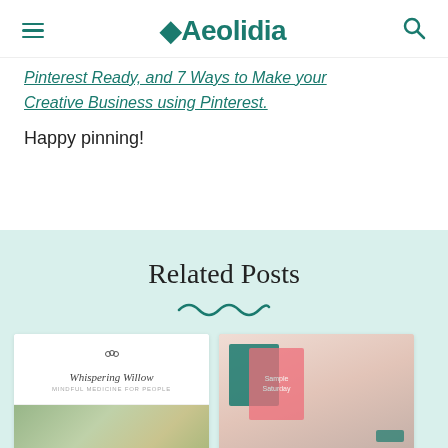Aeolidia
Pinterest Ready, and 7 Ways to Make your Creative Business using Pinterest.
Happy pinning!
Related Posts
[Figure (screenshot): Two related post card thumbnails: left card shows Whispering Willow logo and a herbal product photo; right card shows colorful packaging product photo.]